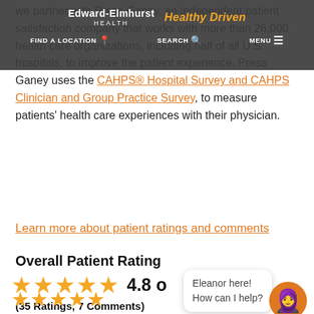Edward-Elmhurst HEALTH | Healthy Driven | FIND A LOCATION | SEARCH | MENU
we partner with Press Ganey, an independent patient satisfaction company that works with more than 26,000 health care organizations, including half of all U.S. hospitals, to improve the patient experience. Press Ganey uses the CAHPS® Hospital Survey and CAHPS Clinician and Group Practice Survey, to measure patients' health care experiences with their physician.
Learn more about patient ratings and comments
Overall Patient Rating
★★★★★ 4.8 o
(35 Ratings, 7 Comments)
Eleanor here! How can I help?
★★★★★
4/22/2022